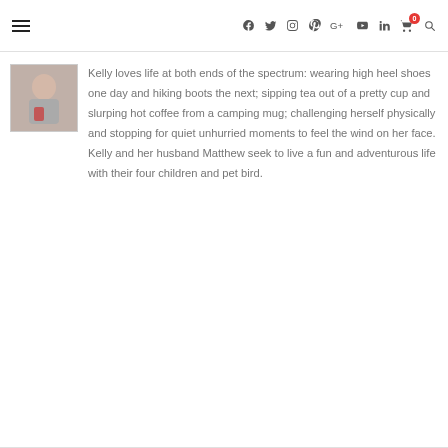≡  f  𝕏  ◎  𝐏  G+  ▶  in  🛒  🔍
[Figure (photo): Small square avatar photo of a woman, appears to be wearing a grey top, holding something red.]
Kelly loves life at both ends of the spectrum: wearing high heel shoes one day and hiking boots the next; sipping tea out of a pretty cup and slurping hot coffee from a camping mug; challenging herself physically and stopping for quiet unhurried moments to feel the wind on her face. Kelly and her husband Matthew seek to live a fun and adventurous life with their four children and pet bird.